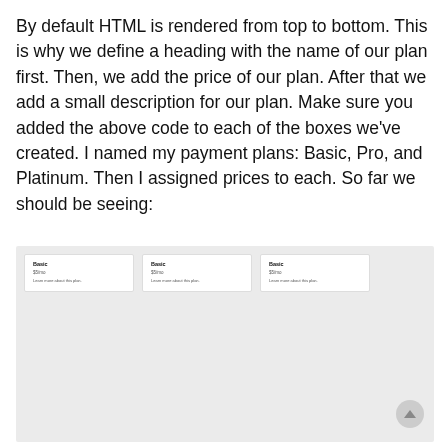By default HTML is rendered from top to bottom. This is why we define a heading with the name of our plan first. Then, we add the price of our plan. After that we add a small description for our plan. Make sure you added the above code to each of the boxes we've created. I named my payment plans: Basic, Pro, and Platinum. Then I assigned prices to each. So far we should be seeing:
[Figure (screenshot): A screenshot of a browser showing three white cards on a light gray background. Each card is labeled 'Basic', with price '$5/mo' and a link 'Learn more about this plan.' A scroll-to-top button (upward triangle in a circle) appears at the bottom right.]